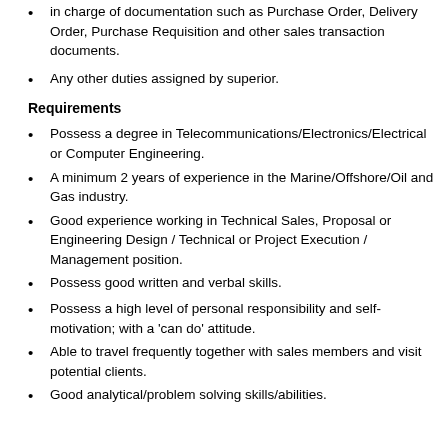in charge of documentation such as Purchase Order, Delivery Order, Purchase Requisition and other sales transaction documents.
Any other duties assigned by superior.
Requirements
Possess a degree in Telecommunications/Electronics/Electrical or Computer Engineering.
A minimum 2 years of experience in the Marine/Offshore/Oil and Gas industry.
Good experience working in Technical Sales, Proposal or Engineering Design / Technical or Project Execution / Management position.
Possess good written and verbal skills.
Possess a high level of personal responsibility and self-motivation; with a 'can do' attitude.
Able to travel frequently together with sales members and visit potential clients.
Good analytical/problem solving skills/abilities.